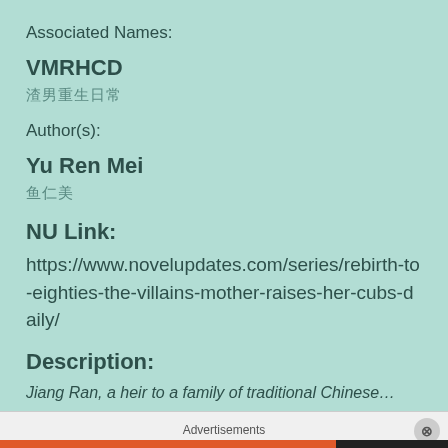Associated Names:
VMRHCD
渣男重生日常
Author(s):
Yu Ren Mei
鱼仁美
NU Link:
https://www.novelupdates.com/series/rebirth-to-eighties-the-villains-mother-raises-her-cubs-daily/
Description:
Jiang Ran, a heir to a family of traditional Chinese…
Advertisements